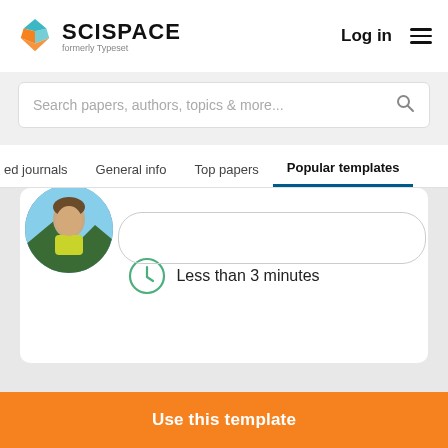SCISPACE formerly Typeset — Log in
Search papers, authors, topics & more...
ed journals   General info   Top papers   Popular templates
Less than 3 minutes
[Figure (screenshot): User profile photo showing a person outdoors]
Use this template